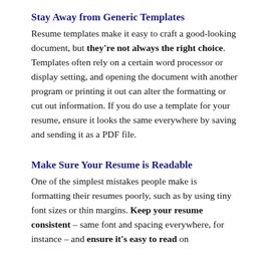Stay Away from Generic Templates
Resume templates make it easy to craft a good-looking document, but they're not always the right choice. Templates often rely on a certain word processor or display setting, and opening the document with another program or printing it out can alter the formatting or cut out information. If you do use a template for your resume, ensure it looks the same everywhere by saving and sending it as a PDF file.
Make Sure Your Resume is Readable
One of the simplest mistakes people make is formatting their resumes poorly, such as by using tiny font sizes or thin margins. Keep your resume consistent – same font and spacing everywhere, for instance – and ensure it's easy to read on